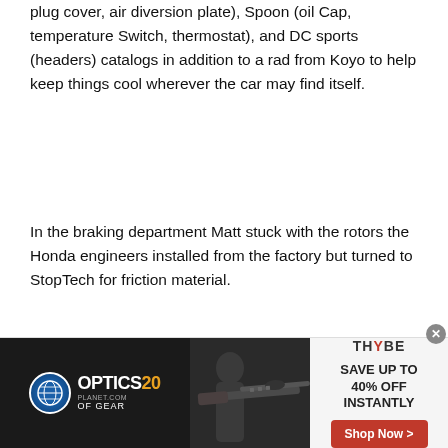plug cover, air diversion plate), Spoon (oil Cap, temperature Switch, thermostat), and DC sports (headers) catalogs in addition to a rad from Koyo to help keep things cool wherever the car may find itself.
In the braking department Matt stuck with the rotors the Honda engineers installed from the factory but turned to StopTech for friction material.
[Figure (photo): Outdoor photo of a black convertible sports car (Honda S2000 or similar) parked in front of a large glass-facade building. The photo shows the rear/side of the car with the top down.]
[Figure (infographic): Advertisement banner overlay. Left section: OpticsPlanet 20 Years of Gear logo on dark background. Center: photo of person with a rifle. Right: Thybe logo, text 'SAVE UP TO 40% OFF INSTANTLY', red Shop Now button. Infolinks label at bottom-left of photo area. Close X button at top-right of ad.]